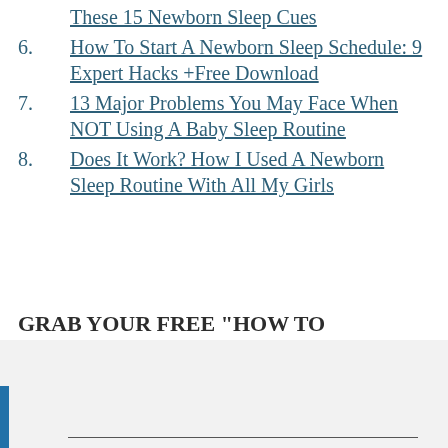These 15 Newborn Sleep Cues
6. How To Start A Newborn Sleep Schedule: 9 Expert Hacks +Free Download
7. 13 Major Problems You May Face When NOT Using A Baby Sleep Routine
8. Does It Work? How I Used A Newborn Sleep Routine With All My Girls
GRAB YOUR FREE “HOW TO DECLUTTER” CHECKLIST TO GET CONTROL OF ALL YOUR NEW BABY STUFF!